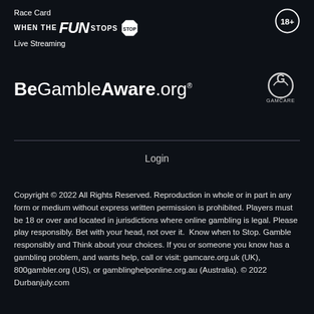Race Card
WHEN THE FUN STOPS STOP [18+]
Live Streaming
[Figure (logo): BeGambleAware.org logo with registered trademark symbol, and GamCare logo]
Login
Copyright © 2022 All Rights Reserved. Reproduction in whole or in part in any form or medium without express written permission is prohibited. Players must be 18 or over and located in jurisdictions where online gambling is legal. Please play responsibly. Bet with your head, not over it.  Know when to Stop. Gamble responsibly and Think about your choices. If you or someone you know has a gambling problem, and wants help, call or visit: gamcare.org.uk (UK), 800gambler.org (US), or gamblinghelponline.org.au (Australia). © 2022 Durbanjuly.com